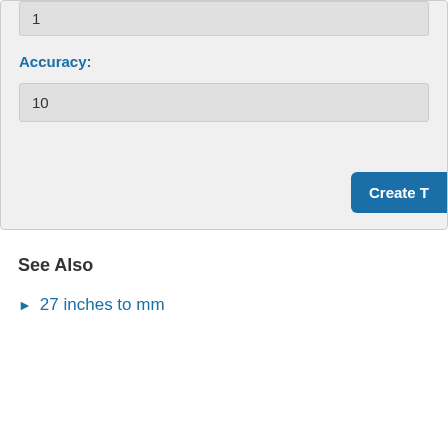1
Accuracy:
10
Create T
See Also
27 inches to mm